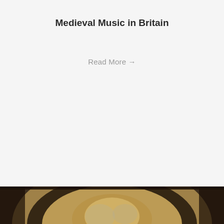Medieval Music in Britain
Read More →
[Figure (photo): Photograph of an ornate painted ceiling or mosaic, showing religious/medieval artwork with figures in an arched composition, viewed from below. Rich warm tones of gold, brown, and blue.]